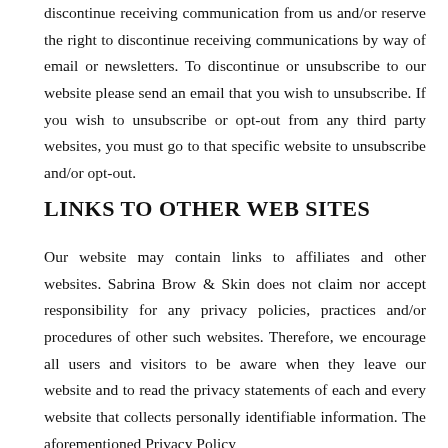discontinue receiving communication from us and/or reserve the right to discontinue receiving communications by way of email or newsletters. To discontinue or unsubscribe to our website please send an email that you wish to unsubscribe. If you wish to unsubscribe or opt-out from any third party websites, you must go to that specific website to unsubscribe and/or opt-out.
LINKS TO OTHER WEB SITES
Our website may contain links to affiliates and other websites. Sabrina Brow & Skin does not claim nor accept responsibility for any privacy policies, practices and/or procedures of other such websites. Therefore, we encourage all users and visitors to be aware when they leave our website and to read the privacy statements of each and every website that collects personally identifiable information. The aforementioned Privacy Policy